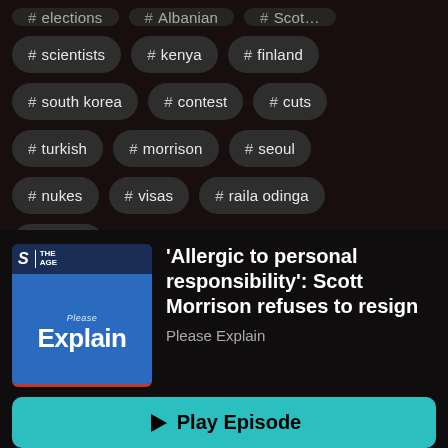# scientists
# kenya
# finland
# south korea
# contest
# cuts
# turkish
# morrison
# seoul
# nukes
# visas
# raila odinga
# odinga
'Allergic to personal responsibility': Scott Morrison refuses to resign
Please Explain
▶ Play Episode